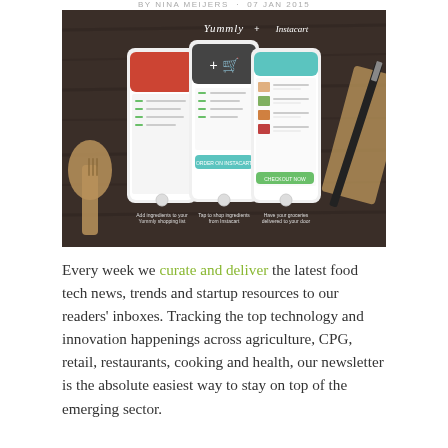BY NINA MEIJERS · 07 JAN 2015
[Figure (screenshot): Promotional image showing Yummly + Instacart integration across three smartphone screens on a wooden background with kitchen utensils. Shows steps: Add ingredients to your Yummly shopping list, Tap to shop ingredients from Instacart, Have your groceries delivered to your door.]
Every week we curate and deliver the latest food tech news, trends and startup resources to our readers' inboxes. Tracking the top technology and innovation happenings across agriculture, CPG, retail, restaurants, cooking and health, our newsletter is the absolute easiest way to stay on top of the emerging sector.